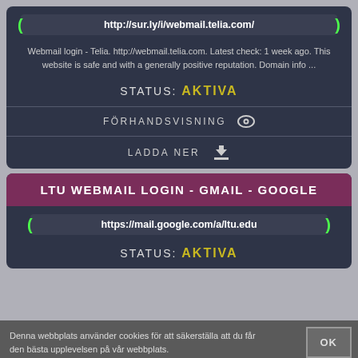http://sur.ly/i/webmail.telia.com/
Webmail login - Telia. http://webmail.telia.com. Latest check: 1 week ago. This website is safe and with a generally positive reputation. Domain info ...
STATUS: AKTIVA
FÖRHANDSVISNING
LADDA NER
LTU WEBMAIL LOGIN - GMAIL - GOOGLE
https://mail.google.com/a/ltu.edu
STATUS: AKTIVA
Denna webbplats använder cookies för att säkerställa att du får den bästa upplevelsen på vår webbplats.